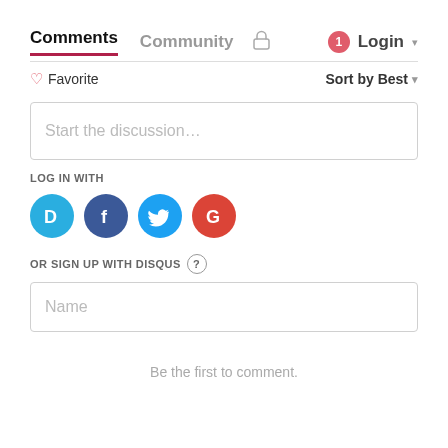Comments   Community   🔒   Login
♡ Favorite      Sort by Best ▾
Start the discussion…
LOG IN WITH
[Figure (logo): Social login icons: Disqus (D, blue), Facebook (f, dark blue), Twitter (bird, light blue), Google (G, red)]
OR SIGN UP WITH DISQUS ?
Name
Be the first to comment.